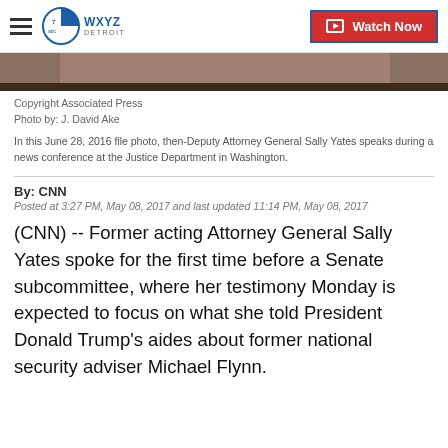WXYZ Detroit | Watch Now
[Figure (photo): Cropped photo of Sally Yates at a news conference, showing upper portion of face and microphones]
Copyright Associated Press
Photo by: J. David Ake

In this June 28, 2016 file photo, then-Deputy Attorney General Sally Yates speaks during a news conference at the Justice Department in Washington.
By: CNN
Posted at 3:27 PM, May 08, 2017 and last updated 11:14 PM, May 08, 2017
(CNN) -- Former acting Attorney General Sally Yates spoke for the first time before a Senate subcommittee, where her testimony Monday is expected to focus on what she told President Donald Trump's aides about former national security adviser Michael Flynn.